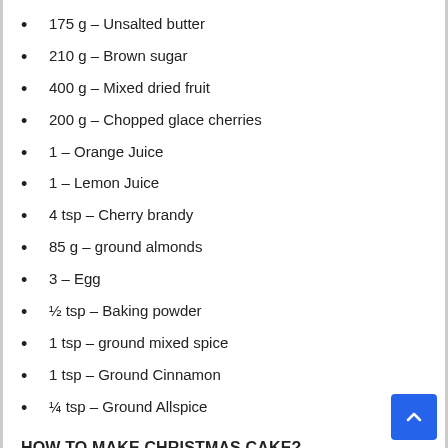175 g – Unsalted butter
210 g – Brown sugar
400 g – Mixed dried fruit
200 g – Chopped glace cherries
1 – Orange Juice
1 – Lemon Juice
4 tsp – Cherry brandy
85 g – ground almonds
3 – Egg
½ tsp – Baking powder
1 tsp – ground mixed spice
1 tsp – Ground Cinnamon
¼ tsp – Ground Allspice
HOW TO MAKE CHRISTMAS CAKE?
Take a large saucepan and add the